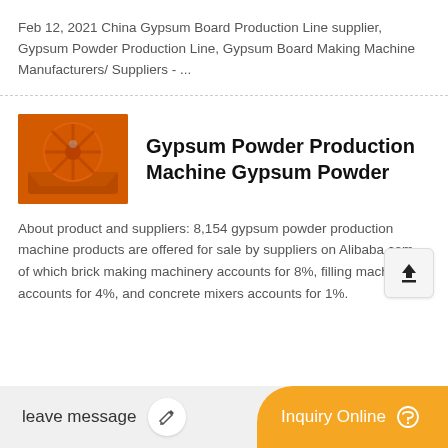Feb 12, 2021 China Gypsum Board Production Line supplier, Gypsum Powder Production Line, Gypsum Board Making Machine Manufacturers/ Suppliers - ...
[Figure (photo): Orange industrial gypsum powder production machine with circular drum mechanism]
Gypsum Powder Production Machine Gypsum Powder
About product and suppliers: 8,154 gypsum powder production machine products are offered for sale by suppliers on Alibaba.com, of which brick making machinery accounts for 8%, filling machines accounts for 4%, and concrete mixers accounts for 1%.
leave message
Inquiry Online